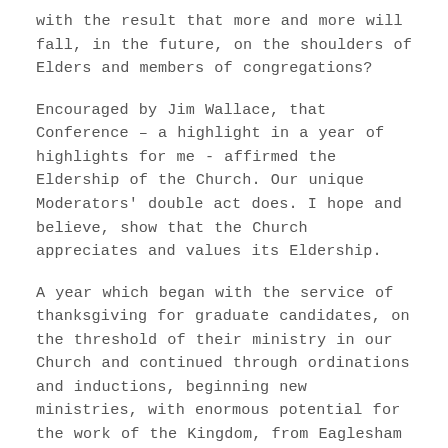with the result that more and more will fall, in the future, on the shoulders of Elders and members of congregations?
Encouraged by Jim Wallace, that Conference – a highlight in a year of highlights for me - affirmed the Eldership of the Church. Our unique Moderators' double act does. I hope and believe, show that the Church appreciates and values its Eldership.
A year which began with the service of thanksgiving for graduate candidates, on the threshold of their ministry in our Church and continued through ordinations and inductions, beginning new ministries, with enormous potential for the work of the Kingdom, from Eaglesham to Torrance and many points in between. A year which ended with the